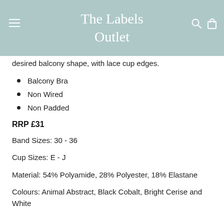The Labels Outlet
desired balcony shape, with lace cup edges.
Balcony Bra
Non Wired
Non Padded
RRP £31
Band Sizes: 30 - 36
Cup Sizes: E - J
Material: 54% Polyamide, 28% Polyester, 18% Elastane
Colours: Animal Abstract, Black Cobalt, Bright Cerise and White